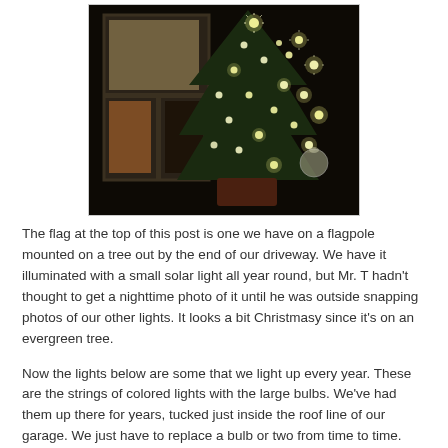[Figure (photo): Nighttime photo of a Christmas tree with white lights next to a window, dark background]
The flag at the top of this post is one we have on a flagpole mounted on a tree out by the end of our driveway.  We have it illuminated with a small solar light all year round, but Mr. T hadn't thought to get a  nighttime photo of it until he was outside snapping photos of our other lights.  It looks a bit Christmasy since it's on an evergreen tree.
Now the lights below are some that we light up every year.  These are the strings of colored lights with the large bulbs.  We've had them up there for years, tucked just inside the roof line of our garage.  We just have to replace a bulb or two from time to time.  Sometimes we place a lighted star